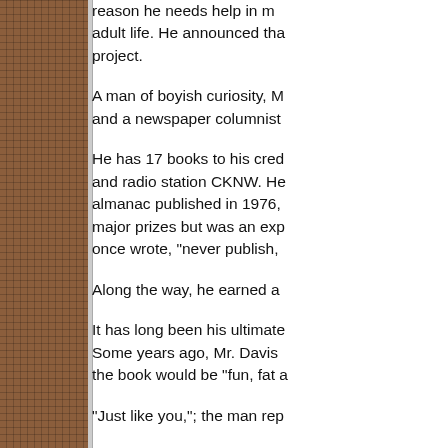reason he needs help in making the transition to adult life. He announced that this would be a major project.
A man of boyish curiosity, Mr. Davis is an author and a newspaper columnist.
He has 17 books to his credit, columns in the Sun and radio station CKNW. He has also produced an almanac published in 1976, which did not win any major prizes but was an experience. As Mr. Davis once wrote, "never publish,"
Along the way, he earned a
It has long been his ultimate dream to write a book. Some years ago, Mr. Davis told a publisher that the book would be "fun, fat a
"Just like you,"; the man rep
That Mr. Davis repeats the s